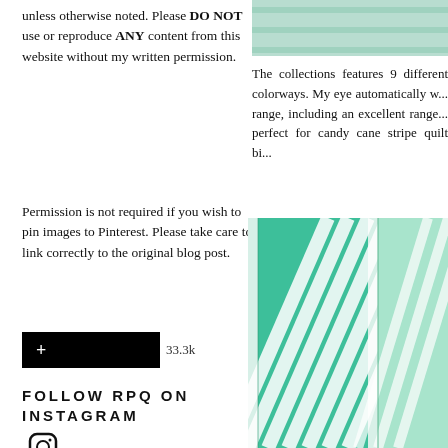unless otherwise noted. Please DO NOT use or reproduce ANY content from this website without my written permission.
[Figure (photo): Partial view of teal/mint fabric or textile at top right]
The collections features 9 different colorways. My eye automatically w... range, including an excellent range... perfect for candy cane stripe quilt bi...
Permission is not required if you wish to pin images to Pinterest. Please take care to link correctly to the original blog post.
[Figure (screenshot): Social sharing button: black plus button with 33.3k count]
FOLLOW RPQ ON INSTAGRAM
[Figure (illustration): Instagram camera icon outline in black]
[Figure (photo): Teal and mint green diagonal striped fabric folded and layered]